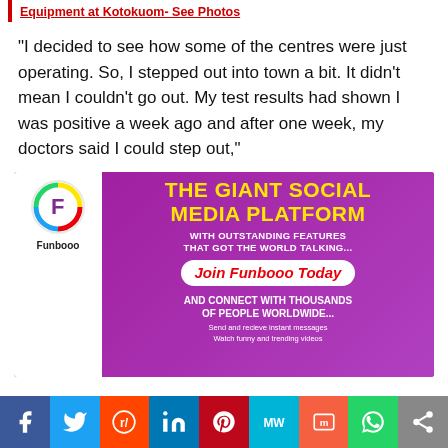Equipment at Kotokuom- See Photos
“I decided to see how some of the centres were just operating. So, I stepped out into town a bit. It didn’t mean I couldn’t go out. My test results had shown I was positive a week ago and after one week, my doctors said I could step out,”
[Figure (infographic): Funbooo social media platform advertisement banner with purple background, Funbooo logo, headline 'THE GIANT SOCIAL MEDIA PLATFORM', subtext 'WITH OUTSTANDING FEATURES THAT GOT THE WORLD TALKING...', 'Join Funbooo Today' button, 'AND CONNECT WITH THOUSANDS OF PEOPLE WORLDWIDE...', and small text about features.]
[Figure (infographic): Social media share bar with icons: Facebook (blue), Twitter (light blue), Reddit (orange-red), LinkedIn (dark blue), Pinterest (red), MW (teal), Mix (orange), WhatsApp (green), Share (grey)]